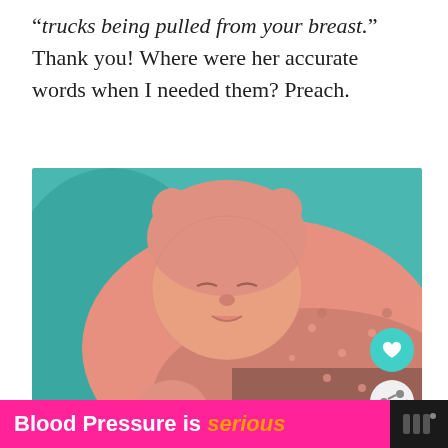“trucks being pulled from your breast.” Thank you! Where were her accurate words when I needed them? Preach.
[Figure (photo): Newborn baby in pink outfit and pink hat with cat ears, lying on a teal/blue blanket, sleeping with eyes closed]
But here’s the real catch, even if you’re “doing it right” it will still hurt. Think about it. Your body h— ur
Blood Pressure is serious